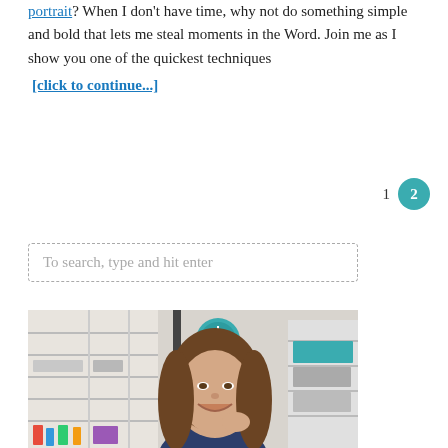portrait? When I don't have time, why not do something simple and bold that lets me steal moments in the Word. Join me as I show you one of the quickest techniques [click to continue...]
1  2
To search, type and hit enter
[Figure (photo): A smiling woman with long brown hair in a craft/hobby room with shelving units filled with supplies and a teal clock in the background.]